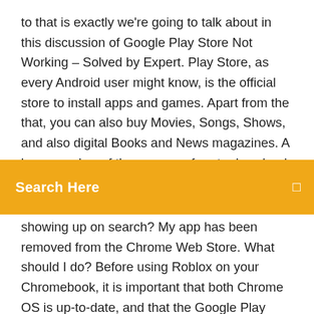to that is exactly we're going to talk about in this discussion of Google Play Store Not Working – Solved by Expert. Play Store, as every Android user might know, is the official store to install apps and games. Apart from the that, you can also buy Movies, Songs, Shows, and also digital Books and News magazines. A large number of the apps are free to download. As for the rest
Search Here
showing up on search? My app has been removed from the Chrome Web Store. What should I do? Before using Roblox on your Chromebook, it is important that both Chrome OS is up-to-date, and that the Google Play store has been enabled in Note: The Roblox App does not work with Bluetooth mice or other Bluetooth pointing devices. 19 Nov 2019 If your device does not have access to Play Store app or website or if Norton Mobile Security is not available on Google Play Store in your  I've noticed that large application updates like Skype & Chrome won't successfully update with the Web Filtering turned on